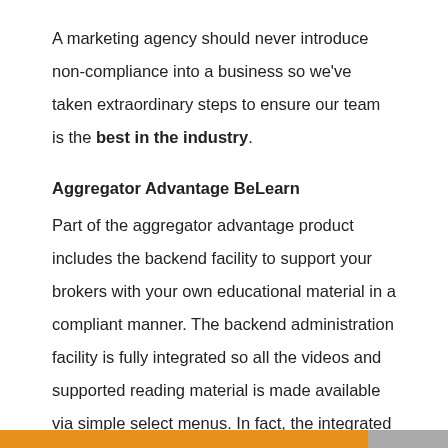A marketing agency should never introduce non-compliance into a business so we've taken extraordinary steps to ensure our team is the best in the industry.
Aggregator Advantage BeLearn
Part of the aggregator advantage product includes the backend facility to support your brokers with your own educational material in a compliant manner. The backend administration facility is fully integrated so all the videos and supported reading material is made available via simple select menus. In fact, the integrated nature of the system